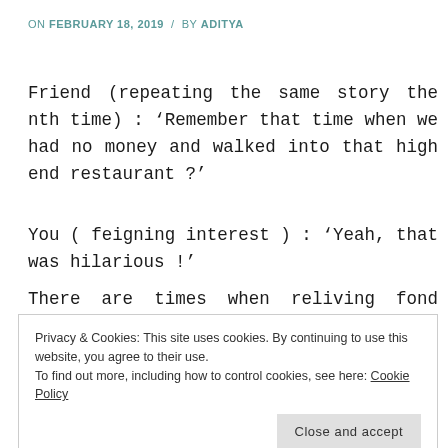ON FEBRUARY 18, 2019 / BY ADITYA
Friend (repeating the same story the nth time) : 'Remember that time when we had no money and walked into that high end restaurant ?'
You ( feigning interest ) : 'Yeah, that was hilarious !'
There are times when reliving fond memories
Privacy & Cookies: This site uses cookies. By continuing to use this website, you agree to their use. To find out more, including how to control cookies, see here: Cookie Policy
wonder if they were the reason for that naughty